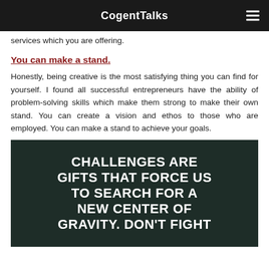CogentTalks
services which you are offering.
You can make a stand.
Honestly, being creative is the most satisfying thing you can find for yourself. I found all successful entrepreneurs have the ability of problem-solving skills which make them strong to make their own stand. You can create a vision and ethos to those who are employed. You can make a stand to achieve your goals.
[Figure (illustration): Dark green background image with bold white uppercase text reading: CHALLENGES ARE GIFTS THAT FORCE US TO SEARCH FOR A NEW CENTER OF GRAVITY. DON'T FIGHT (cut off at bottom)]